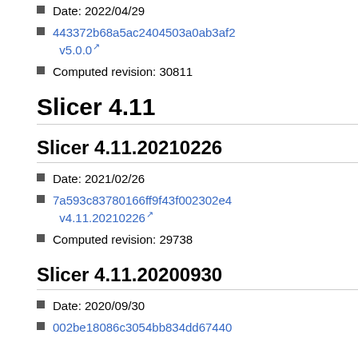Date: 2022/04/29
443372b68a5ac2404503a0ab3af... v5.0.0
Computed revision: 30811
Slicer 4.11
Slicer 4.11.20210226
Date: 2021/02/26
7a593c83780166ff9f43f002302e4... v4.11.20210226
Computed revision: 29738
Slicer 4.11.20200930
Date: 2020/09/30
002be18086c3054bb834dd67440...